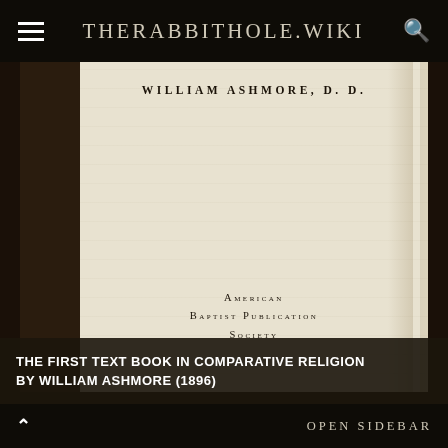THERABBITHOLE.WIKI
[Figure (photo): Scanned book cover page showing 'WILLIAM ASHMORE, D. D.' at top and 'American Baptist Publication Society' at bottom, printed on aged cream paper]
THE FIRST TEXT BOOK IN COMPARATIVE RELIGION BY WILLIAM ASHMORE (1896)
[Figure (photo): Bottom strip showing a dark book spine or cover with decorative elements]
OPEN SIDEBAR